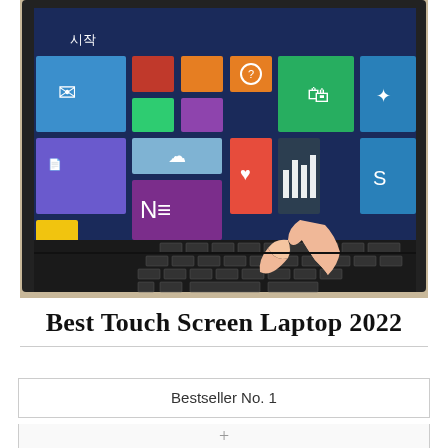[Figure (photo): A hand finger-touching a touchscreen laptop showing Windows 8 Start screen with Korean tiles (시작), with a virtual keyboard visible on screen.]
Best Touch Screen Laptop 2022
| Bestseller No. 1 |